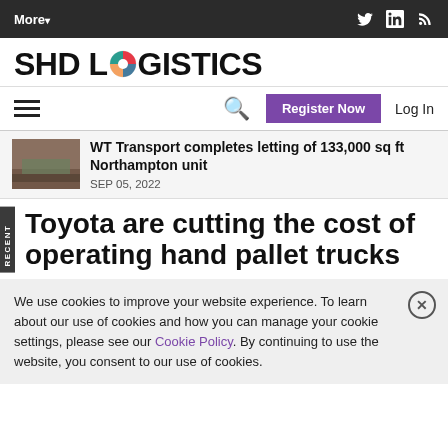More▾ | Twitter | LinkedIn | RSS
[Figure (logo): SHD Logistics logo with circular multicolor icon replacing the O in LOGISTICS]
Hamburger menu | Search | Register Now | Log In
WT Transport completes letting of 133,000 sq ft Northampton unit — SEP 05, 2022
Toyota are cutting the cost of operating hand pallet trucks
We use cookies to improve your website experience. To learn about our use of cookies and how you can manage your cookie settings, please see our Cookie Policy. By continuing to use the website, you consent to our use of cookies.